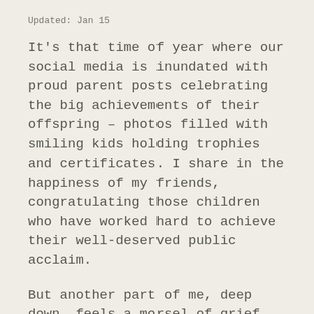Updated: Jan 15
It's that time of year where our social media is inundated with proud parent posts celebrating the big achievements of their offspring – photos filled with smiling kids holding trophies and certificates. I share in the happiness of my friends, congratulating those children who have worked hard to achieve their well-deserved public acclaim.
But another part of me, deep down, feels a morsel of grief
It's not an emotion that we tend to discuss with others, perhaps for